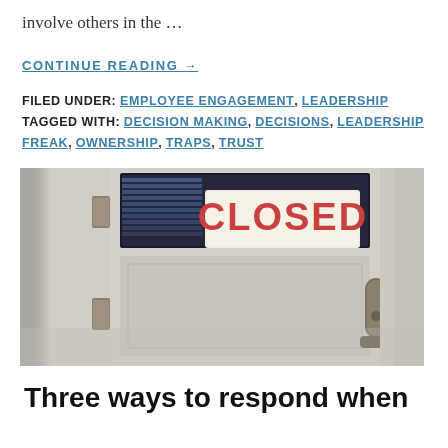involve others in the …
CONTINUE READING →
FILED UNDER: EMPLOYEE ENGAGEMENT, LEADERSHIP
TAGGED WITH: DECISION MAKING, DECISIONS, LEADERSHIP FREAK, OWNERSHIP, TRAPS, TRUST
[Figure (photo): A close-up photo of a door with a red 'CLOSED' sign visible through the window panel, with a door handle and hinges visible.]
Three ways to respond when